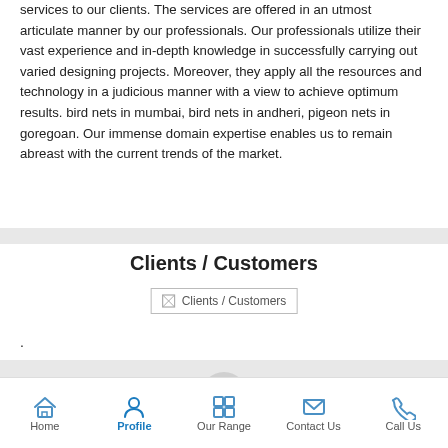services to our clients. The services are offered in an utmost articulate manner by our professionals. Our professionals utilize their vast experience and in-depth knowledge in successfully carrying out varied designing projects. Moreover, they apply all the resources and technology in a judicious manner with a view to achieve optimum results. bird nets in mumbai, bird nets in andheri, pigeon nets in goregoan. Our immense domain expertise enables us to remain abreast with the current trends of the market.
Clients / Customers
[Figure (other): Broken image placeholder labeled Clients / Customers]
.
Home | Profile | Our Range | Contact Us | Call Us